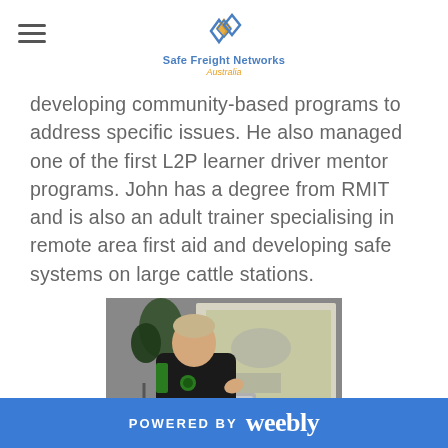Safe Freight Networks Australia
developing community-based programs to address specific issues. He also managed one of the first L2P learner driver mentor programs. John has a degree from RMIT and is also an adult trainer specialising in remote area first aid and developing safe systems on large cattle stations.
[Figure (photo): A man in a black polo shirt presenting at a podium in front of a projection screen, with a plant visible in the background.]
POWERED BY weebly